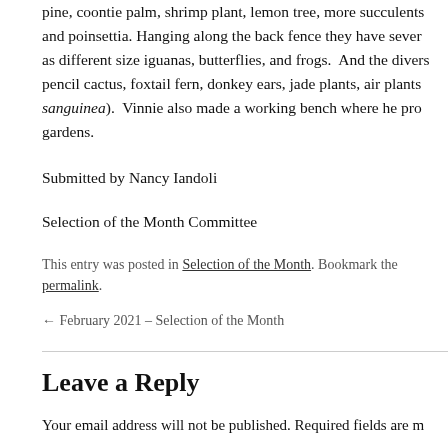pine, coontie palm, shrimp plant, lemon tree, more succulents and poinsettia. Hanging along the back fence they have sever as different size iguanas, butterflies, and frogs.  And the divers pencil cactus, foxtail fern, donkey ears, jade plants, air plants sanguinea).  Vinnie also made a working bench where he pro gardens.
Submitted by Nancy Iandoli
Selection of the Month Committee
This entry was posted in Selection of the Month. Bookmark the permalink.
← February 2021 – Selection of the Month
Leave a Reply
Your email address will not be published. Required fields are m
Comment *